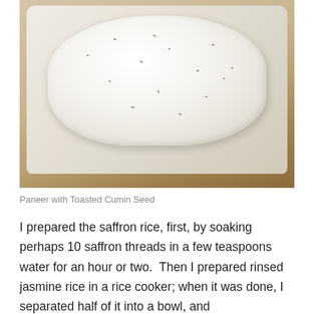[Figure (photo): A block of paneer cheese with toasted cumin seeds embedded in it, sitting on a white cutting board or plate, with a warm wooden surface visible underneath.]
Paneer with Toasted Cumin Seed
I prepared the saffron rice, first, by soaking perhaps 10 saffron threads in a few teaspoons water for an hour or two.  Then I prepared rinsed jasmine rice in a rice cooker; when it was done, I separated half of it into a bowl, and